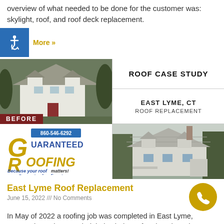overview of what needed to be done for the customer was: skylight, roof, and roof deck replacement.
More »
[Figure (photo): Composite image showing a roof case study: top-left is a BEFORE photo of a white house with gray shingles (aerial view), top-right is a header reading ROOF CASE STUDY with subtext EAST LYME, CT ROOF REPLACEMENT, bottom-left is the Guaranteed Roofing company logo with phone number 860-546-6292 and website Guaranteedroofingct.com, bottom-right is an AFTER photo of the same house with new roof.]
East Lyme Roof Replacement
June 15, 2022 /// No Comments
In May of 2022 a roofing job was completed in East Lyme, Connecticut. They needed their whole roof replaced, so the team got to work.